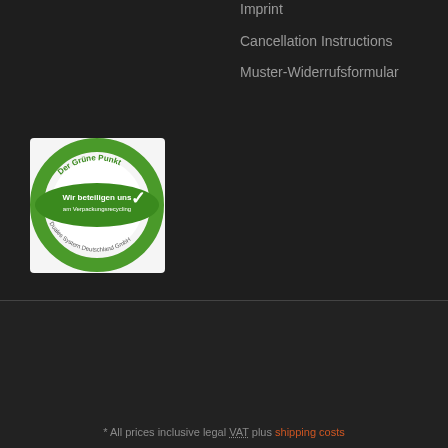Imprint
Cancellation Instructions
Muster-Widerrufsformular
[Figure (logo): Der Grüne Punkt — Wir beteiligen uns am Verpackungsrecycling — Duales System Deutschland GmbH circular logo with green ring and white checkmark]
[Figure (logo): Facebook and Instagram social media icons in white on dark square backgrounds]
Language selector with flag icon and dropdown arrow
* All prices inclusive legal VAT plus shipping costs